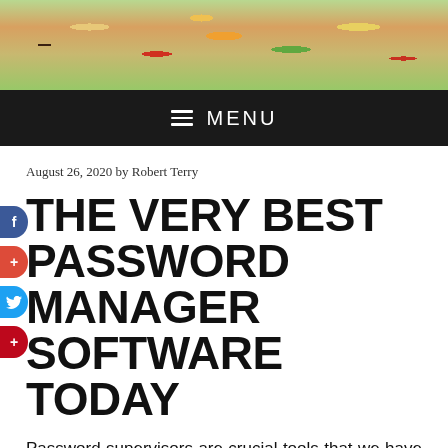[Figure (photo): Banner image showing various food dishes from a top-down view, colorful spread of international cuisine]
≡ MENU
August 26, 2020 by Robert Terry
THE VERY BEST PASSWORD MANAGER SOFTWARE TODAY
Password supervisors are crucial tools that we have to have when we do a lot of sensitive transactions over the net. We live in a time